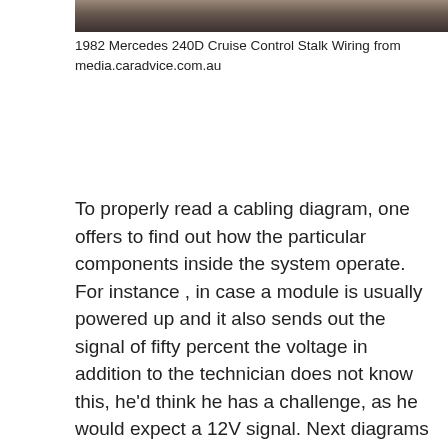[Figure (photo): Partial photo of a 1982 Mercedes 240D cruise control stalk wiring component, cropped at top]
1982 Mercedes 240D Cruise Control Stalk Wiring from media.caradvice.com.au
To properly read a cabling diagram, one offers to find out how the particular components inside the system operate. For instance , in case a module is usually powered up and it also sends out the signal of fifty percent the voltage in addition to the technician does not know this, he'd think he has a challenge, as he would expect a 12V signal. Next diagrams is pretty simple, but making use of it inside the scope of how the system operates is a different matter. My most sage advice is not really only look in the diagram, yet understand how the constituents operate when inside use.